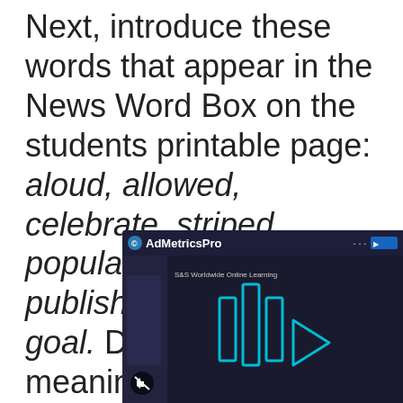Next, introduce these words that appear in the News Word Box on the students printable page: aloud, allowed, celebrate, striped, popular, company, publish, project, and goal. Discuss the meanings of any of those words that might be u[nfamiliar, and] ask studen[ts to use] those word[s in sentences] each of th[e...]
[Figure (screenshot): An ad overlay video player from AdMetricsPro showing an S&S Worldwide Online Learning video with a cyan play button icon on a dark background, with a mute button in the lower left corner.]